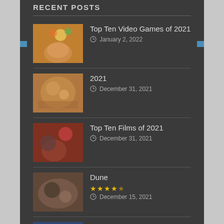RECENT POSTS
Top Ten Video Games of 2021 — January 2, 2022
2021 — December 31, 2021
Top Ten Films of 2021 — December 31, 2021
Dune — ★★★★½ — December 15, 2021
Unpacking — ★★★★½ — December 3, 2021
RECENT COMMENTS